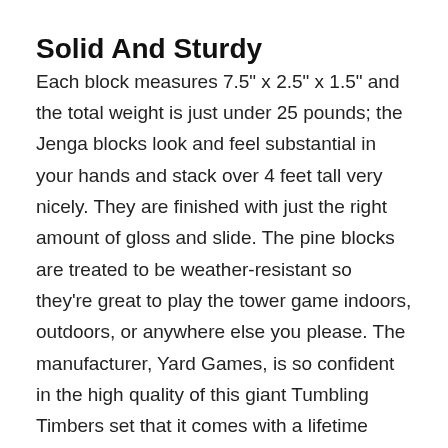Solid And Sturdy
Each block measures 7.5" x 2.5" x 1.5" and the total weight is just under 25 pounds; the Jenga blocks look and feel substantial in your hands and stack over 4 feet tall very nicely. They are finished with just the right amount of gloss and slide. The pine blocks are treated to be weather-resistant so they’re great to play the tower game indoors, outdoors, or anywhere else you please. The manufacturer, Yard Games, is so confident in the high quality of this giant Tumbling Timbers set that it comes with a lifetime warranty. Feel free to play hard without any worry! It’s super fun to take this set to picnics, barbecues, or tailgate parties!